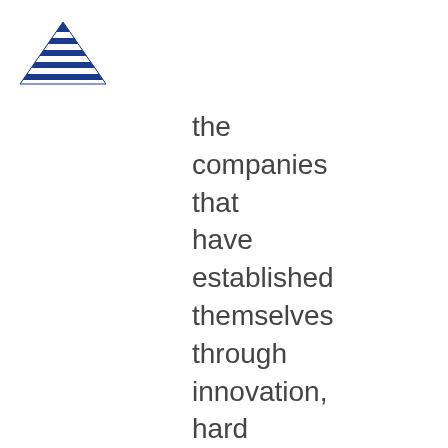[Figure (logo): Blue Signal company logo with triangular striped icon above the text BLUE SIGNAL]
the companies that have established themselves through innovation, hard work, and rising to the challenges of